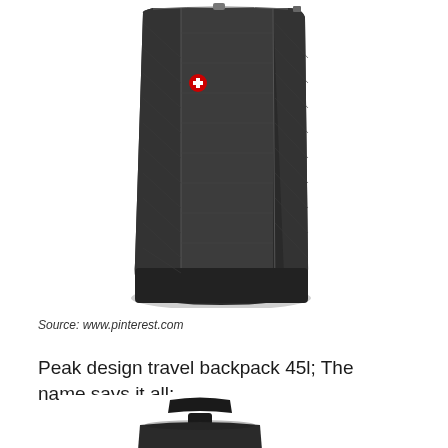[Figure (photo): A black backpack (Wenger/Swiss Gear style) photographed against a white background, showing the front and side. The bag has textured fabric panels, visible zipper tracks, and a small red Swiss cross logo badge on the front pocket.]
Source: www.pinterest.com
Peak design travel backpack 45l; The name says it all:
[Figure (photo): Bottom portion of a black backpack showing the top handle and upper portion of the bag against a white background.]